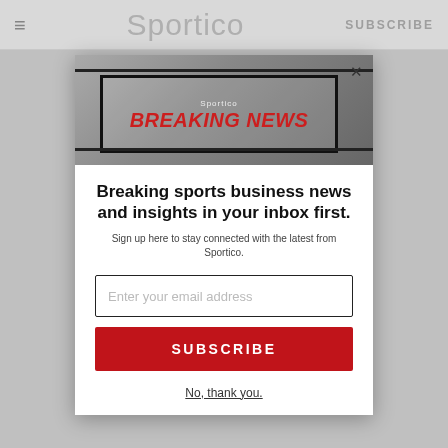≡  Sportico  SUBSCRIBE
[Figure (screenshot): Sportico Breaking News newsletter promotional image with bold red BREAKING NEWS text on dark background]
Breaking sports business news and insights in your inbox first.
Sign up here to stay connected with the latest from Sportico.
Enter your email address
SUBSCRIBE
No, thank you.